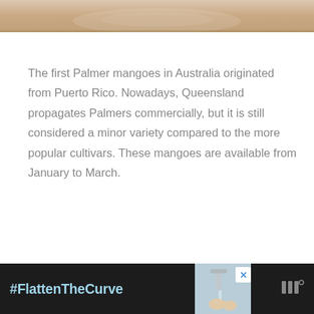[Figure (photo): Partial photo strip at top of page showing a mango dish, cropped]
The first Palmer mangoes in Australia originated from Puerto Rico. Nowadays, Queensland propagates Palmers commercially, but it is still considered a minor variety compared to the more popular cultivars. These mangoes are available from January to March.
[Figure (photo): Advertisement banner at bottom: dark background with '#FlattenTheCurve' text in light blue, faucet/handwashing image, close button, and WM logo]